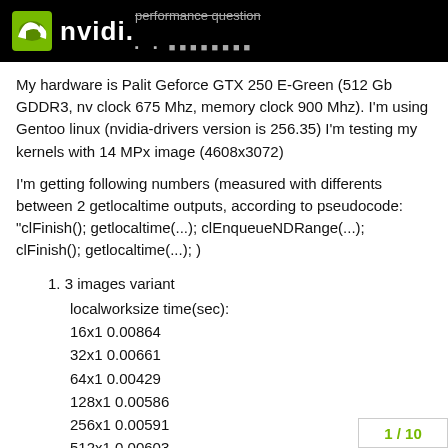NVIDIA — performance question
My hardware is Palit Geforce GTX 250 E-Green (512 Gb GDDR3, nv clock 675 Mhz, memory clock 900 Mhz). I'm using Gentoo linux (nvidia-drivers version is 256.35) I'm testing my kernels with 14 MPx image (4608x3072)
I'm getting following numbers (measured with differents between 2 getlocaltime outputs, according to pseudocode: "clFinish(); getlocaltime(...); clEnqueueNDRange(...); clFinish(); getlocaltime(...); )
3 images variant
localworksize time(sec):
16x1 0.00864
32x1 0.00661
64x1 0.00429
128x1 0.00586
256x1 0.00591
512x1 0.00603
16x2 0.00476
1 / 10